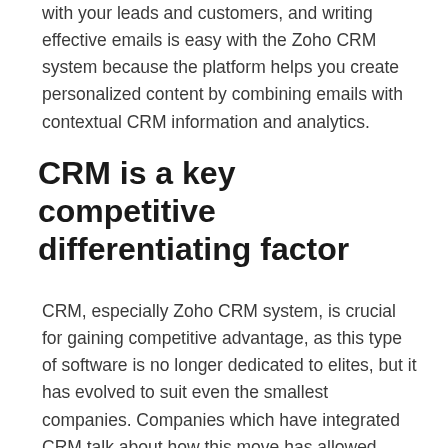with your leads and customers, and writing effective emails is easy with the Zoho CRM system because the platform helps you create personalized content by combining emails with contextual CRM information and analytics.
CRM is a key competitive differentiating factor
CRM, especially Zoho CRM system, is crucial for gaining competitive advantage, as this type of software is no longer dedicated to elites, but it has evolved to suit even the smallest companies. Companies which have integrated CRM talk about how this move has allowed them to gain an overall view of their sales, increase performance, empowered sales staff so they managed to achieve their quotas, and improved customer retention. It all comes down to your ability to retain existing customers as this has a huge impact on your